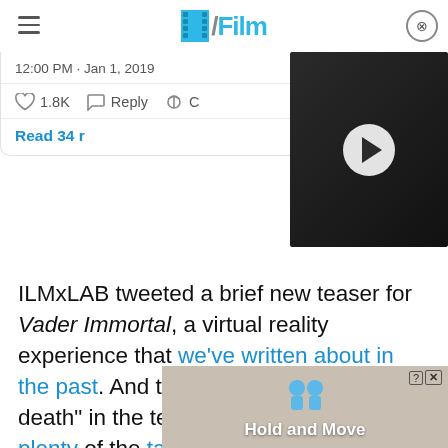/Film
[Figure (screenshot): Tweet showing 12:00 PM · Jan 1, 2019 with 1.8K likes, Reply, Copy link actions and Read 34 more button]
[Figure (screenshot): Video thumbnail showing a dark-haired person with a play button overlay]
ILMxLAB tweeted a brief new teaser for Vader Immortal, a virtual reality experience that we've written about in the past. And that mention of "cheating death" in the teaser certainly recalls plenty of the talk that's cropped up around Vader in the comic books over the past several months, so it'll be interesting to see how directly this VR story may tie in to th
[Figure (screenshot): Ad overlay showing animated people icons and text 'Hold and Move' with close button]